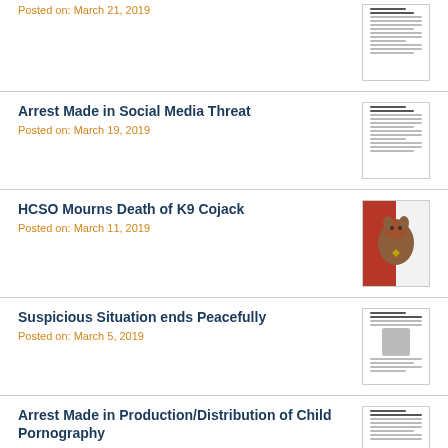Posted on: March 21, 2019
Arrest Made in Social Media Threat
Posted on: March 19, 2019
HCSO Mourns Death of K9 Cojack
Posted on: March 11, 2019
Suspicious Situation ends Peacefully
Posted on: March 5, 2019
Arrest Made in Production/Distribution of Child Pornography
Posted on: March 4, 2019